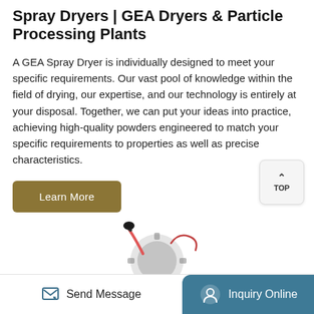Spray Dryers | GEA Dryers & Particle Processing Plants
A GEA Spray Dryer is individually designed to meet your specific requirements. Our vast pool of knowledge within the field of drying, our expertise, and our technology is entirely at your disposal. Together, we can put your ideas into practice, achieving high-quality powders engineered to match your specific requirements to properties as well as precise characteristics.
Learn More
[Figure (photo): Partial view of industrial spray dryer machinery components]
Send Message
Inquiry Online